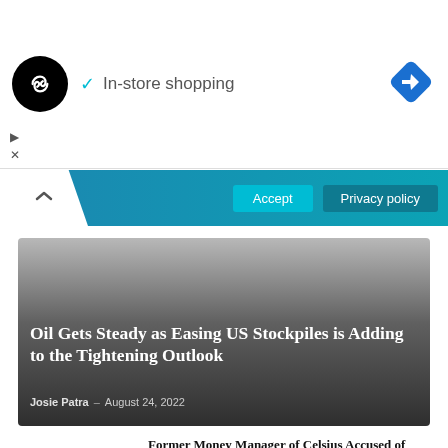[Figure (logo): Black circular logo with white infinity/loop arrow icon, and text 'In-store shopping' with cyan checkmark, and blue diamond navigation icon at right]
▷
✕
Accept    Privacy policy
Oil Gets Steady as Easing US Stockpiles is Adding to the Tightening Outlook
Josie Patra – August 24, 2022
Former Money Manager of Celsius Accused of Theft by Crypto Lender
August 24, 2022
Fasting and Testosterone: What's the